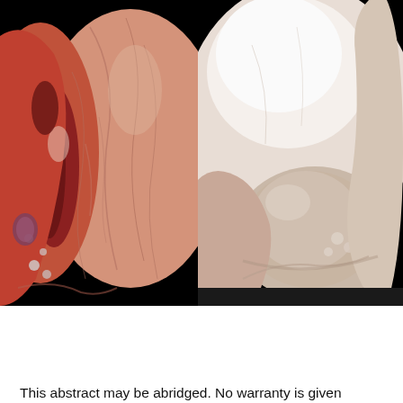[Figure (photo): Two side-by-side endoscopic images showing internal tissue. Left image shows reddish, inflamed mucosal tissue with a fissure or opening and blood droplets visible. Right image shows pale, smooth tissue with a rounded protrusion, possibly a polyp or prolapsed tissue, with some moisture visible.]
This abstract may be abridged. No warranty is given